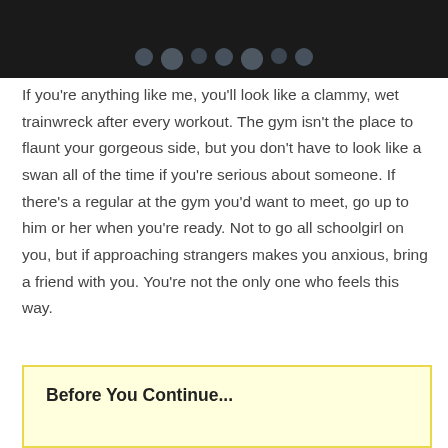[Figure (photo): Dark photo strip at top of page showing partial figures or objects against a dark background]
If you're anything like me, you'll look like a clammy, wet trainwreck after every workout. The gym isn't the place to flaunt your gorgeous side, but you don't have to look like a swan all of the time if you're serious about someone. If there's a regular at the gym you'd want to meet, go up to him or her when you're ready. Not to go all schoolgirl on you, but if approaching strangers makes you anxious, bring a friend with you. You're not the only one who feels this way.
Before You Continue...